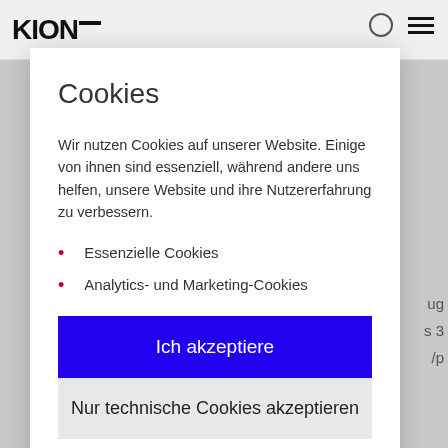KION
Cookies
Wir nutzen Cookies auf unserer Website. Einige von ihnen sind essenziell, während andere uns helfen, unsere Website und ihre Nutzererfahrung zu verbessern.
Essenzielle Cookies
Analytics- und Marketing-Cookies
Ich akzeptiere
Nur technische Cookies akzeptieren